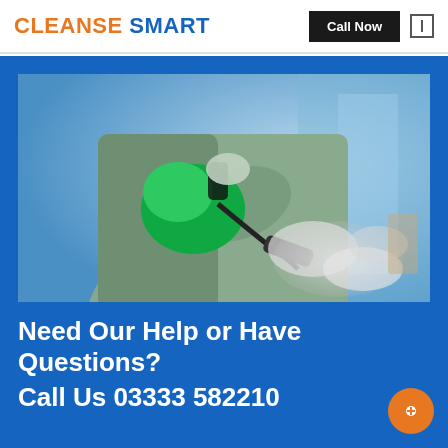CLEANSE SMART — Call Now
[Figure (photo): A person in a gray protective suit holding a green steam cleaner device, spraying steam, against a blurred blue background.]
Need Our Help or Have Questions?
Call Us 03333 582210